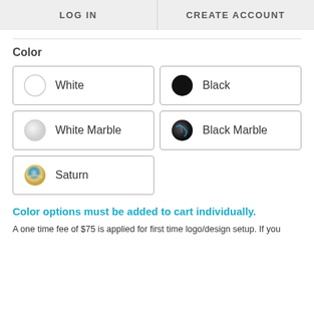LOG IN  CREATE ACCOUNT
Color
White
Black
White Marble
Black Marble
Saturn
Color options must be added to cart individually.
A one time fee of $75 is applied for first time logo/design setup. If you